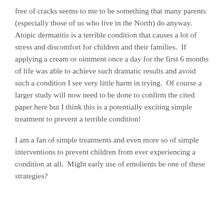free of cracks seems to me to be something that many parents (especially those of us who live in the North) do anyway. Atopic dermatitis is a terrible condition that causes a lot of stress and discomfort for children and their families.  If applying a cream or ointment once a day for the first 6 months of life was able to achieve such dramatic results and avoid such a condition I see very little harm in trying.  Of course a larger study will now need to be done to confirm the cited paper here but I think this is a potentially exciting simple treatment to prevent a terrible condition!
I am a fan of simple treatments and even more so of simple interventions to prevent children from ever experiencing a condition at all.  Might early use of emolients be one of these strategies?